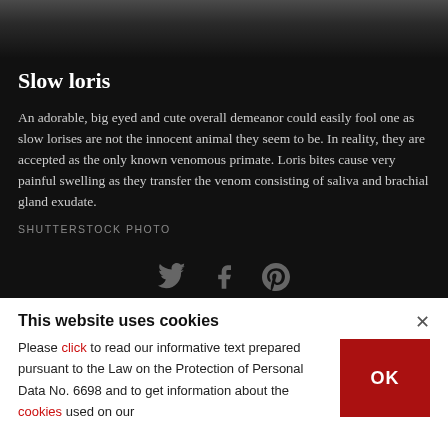[Figure (photo): Partial photo of a slow loris animal, showing fur and paws against a dark background, cropped at the top of the page]
Slow loris
An adorable, big eyed and cute overall demeanor could easily fool one as slow lorises are not the innocent animal they seem to be. In reality, they are accepted as the only known venomous primate. Loris bites cause very painful swelling as they transfer the venom consisting of saliva and brachial gland exudate.
SHUTTERSTOCK PHOTO
[Figure (illustration): Social media sharing icons: Twitter bird, Facebook f, and Pinterest P icons in dark gray on black background]
This website uses cookies
Please click to read our informative text prepared pursuant to the Law on the Protection of Personal Data No. 6698 and to get information about the cookies used on our